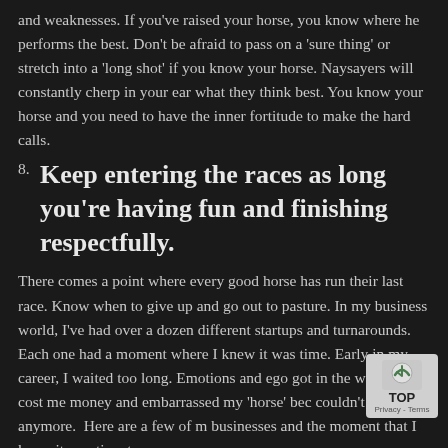and weaknesses. If you've raised your horse, you know where he performs the best. Don't be afraid to pass on a 'sure thing' or stretch into a 'long shot' if you know your horse. Naysayers will constantly cherp in your ear what they think best. You know your horse and you need to have the inner fortitude to make the hard calls.
8. Keep entering the races as long you're having fun and finishing respectfully.
There comes a point where every good horse has run their last race. Know when to give up and go out to pasture. In my business world, I've had over a dozen different startups and turnarounds. Each one had a moment where I knew it was time. Early in my career, I waited too long. Emotions and ego got in the way and it cost me money and embarrassed my 'horse' bec couldn't compete anymore. Here are a few of m businesses and the moment that I knew it was time to